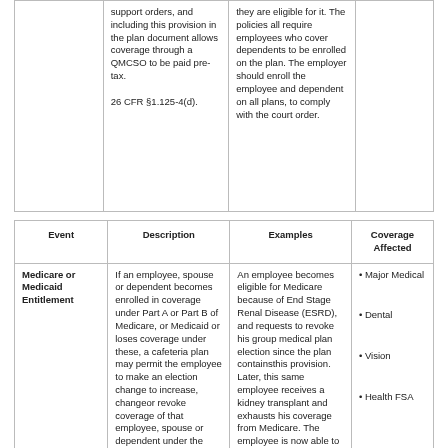| Event | Description | Examples | Coverage Affected |
| --- | --- | --- | --- |
|  | support orders, and including this provision in the plan document allows coverage through a QMCSO to be paid pre-tax.

26 CFR §1.125-4(d). | they are eligible for it. The policies all require employees who cover dependents to be enrolled on the plan. The employer should enroll the employee and dependent on all plans, to comply with the court order. |  |
| Medicare or Medicaid Entitlement | If an employee, spouse or dependent becomes enrolled in coverage under Part A or Part B of Medicare, or Medicaid or loses coverage under these, a cafeteria plan may permit the employee to make an election change to increase, changeor revoke coverage of that employee, spouse or dependent under the | An employee becomes eligible for Medicare because of End Stage Renal Disease (ESRD), and requests to revoke his group medical plan election since the plan containsthis provision. Later, this same employee receives a kidney transplant and exhausts his coverage from Medicare. The employee is now able to | • Major Medical

• Dental

• Vision

• Health FSA |